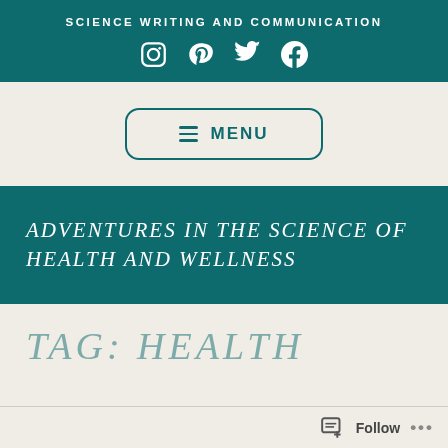SCIENCE WRITING AND COMMUNICATION
[Figure (other): Social media icons: Instagram, Pinterest, Twitter, Facebook]
[Figure (other): Menu button with hamburger icon and text MENU]
ADVENTURES IN THE SCIENCE OF HEALTH AND WELLNESS
TAG: HEALTH
Follow